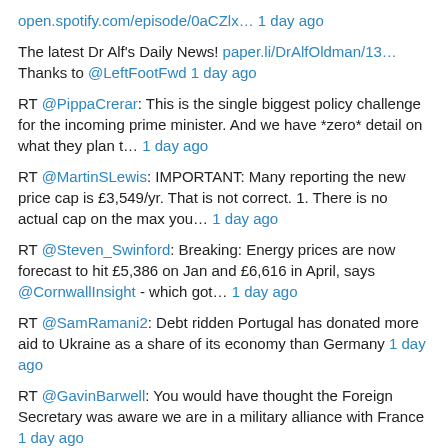open.spotify.com/episode/0aCZlx… 1 day ago
The latest Dr Alf's Daily News! paper.li/DrAlfOldman/13… Thanks to @LeftFootFwd 1 day ago
RT @PippaCrerar: This is the single biggest policy challenge for the incoming prime minister. And we have *zero* detail on what they plan t… 1 day ago
RT @MartinSLewis: IMPORTANT: Many reporting the new price cap is £3,549/yr. That is not correct. 1. There is no actual cap on the max you… 1 day ago
RT @Steven_Swinford: Breaking: Energy prices are now forecast to hit £5,386 on Jan and £6,616 in April, says @CornwallInsight - which got… 1 day ago
RT @SamRamani2: Debt ridden Portugal has donated more aid to Ukraine as a share of its economy than Germany 1 day ago
RT @GavinBarwell: You would have thought the Foreign Secretary was aware we are in a military alliance with France 1 day ago